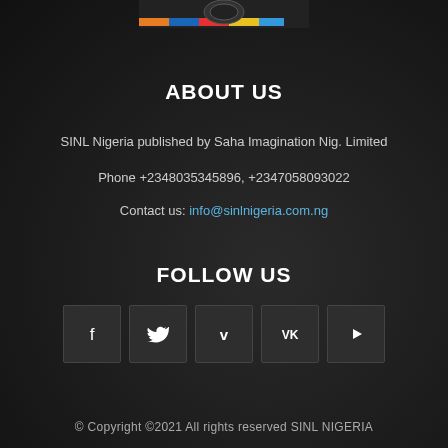[Figure (illustration): Top portion of a logo/banner image with colored stripes (orange, blue, red) at the top of the page]
ABOUT US
SINL Nigeria published by Saha Imagination Nig. Limited
Phone +2348035345896, +2347058093022
Contact us: info@sinlnigeria.com.ng
FOLLOW US
[Figure (infographic): Row of 5 social media icons: Facebook (f), Twitter (bird), Vimeo (V), VK (VK), YouTube (play button), each in a dark square box]
© Copyright ©2021 All rights reserved SINL NIGERIA